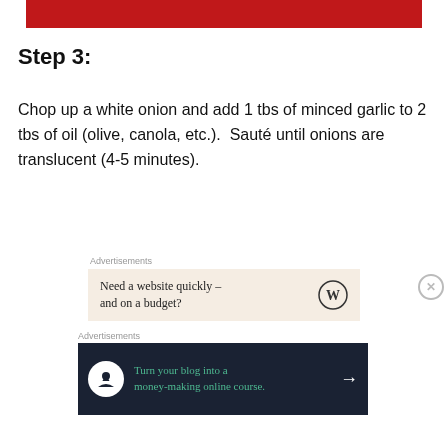[Figure (photo): Top portion of a photo with red background, partially visible at top of page]
Step 3:
Chop up a white onion and add 1 tbs of minced garlic to 2 tbs of oil (olive, canola, etc.).  Sauté until onions are translucent (4-5 minutes).
Advertisements
[Figure (other): Advertisement: Need a website quickly – and on a budget? WordPress logo.]
Advertisements
[Figure (other): Advertisement: Turn your blog into a money-making online course. Dark navy background with green text and arrow.]